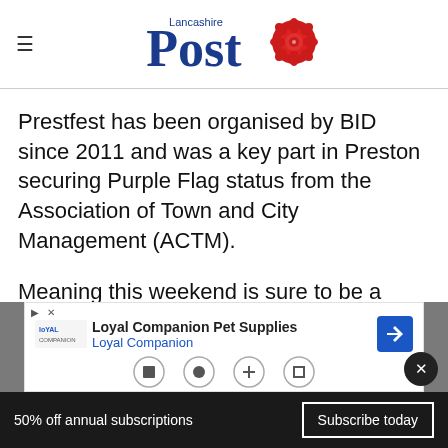Lancashire Post
Prestfest has been organised by BID since 2011 and was a key part in Preston securing Purple Flag status from the Association of Town and City Management (ACTM).
Meaning this weekend is sure to be a purple patch!
[Figure (other): Advertisement banner for Loyal Companion Pet Supplies with logo, close button, and navigation arrow icon]
50% off annual subscriptions  Subscribe today